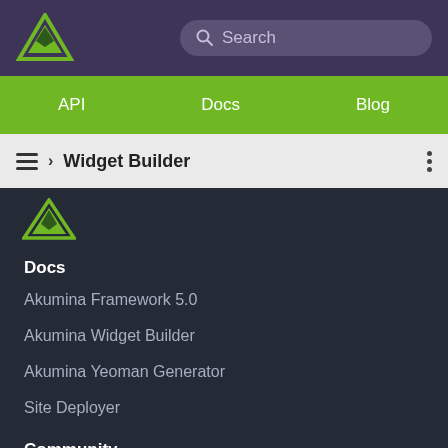Akumina logo and Search bar
API  Docs  Blog
› Widget Builder
Docs
Akumina Framework 5.0
Akumina Widget Builder
Akumina Yeoman Generator
Site Deployer
Community
Akumina Community Site
More